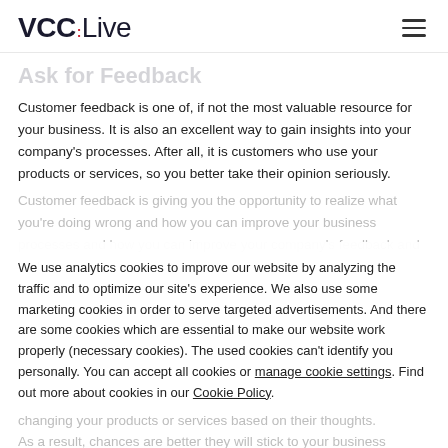VCC:Live
Ask for Feedback
Customer feedback is one of, if not the most valuable resource for your business. It is also an excellent way to gain insights into your company's processes. After all, it is customers who use your products or services, so you better take their opinion seriously.
Customer feedback is giving you the opportunity to realize what you're doing wrong and how you can improve your business processes and how you can improve your company's feedback and be better.
We use analytics cookies to improve our website by analyzing the traffic and to optimize our site's experience. We also use some marketing cookies in order to serve targeted advertisements. And there are some cookies which are essential to make our website work properly (necessary cookies). The used cookies can't identify you personally. You can accept all cookies or manage cookie settings. Find out more about cookies in our Cookie Policy.
Allow selection
ACCEPT ALL